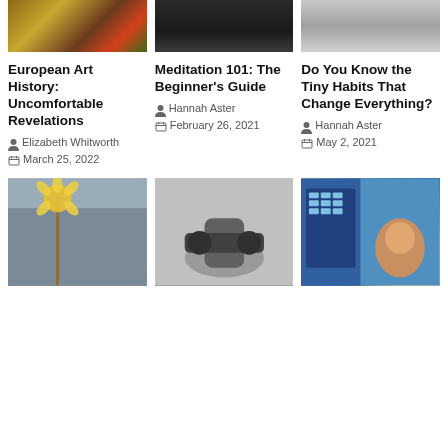[Figure (photo): Top row: three article thumbnail images - fruits/vegetables basket, dark background, grey/blurred background]
European Art History: Uncomfortable Revelations
Elizabeth Whitworth
March 25, 2022
Meditation 101: The Beginner's Guide
Hannah Aster
February 26, 2021
Do You Know the Tiny Habits That Change Everything?
Hannah Aster
May 2, 2021
[Figure (photo): Bottom row: three article thumbnail images - yellow flower on wood, black and white weights/hands, woman at computer panel]